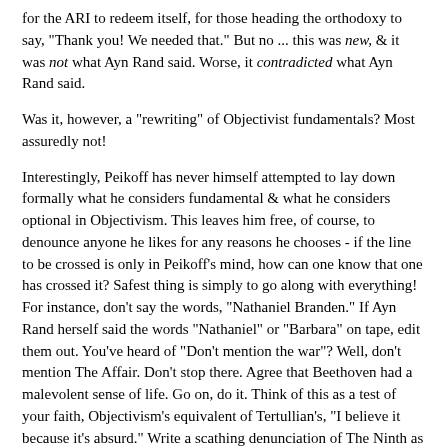for the ARI to redeem itself, for those heading the orthodoxy to say, "Thank you! We needed that." But no ... this was new, & it was not what Ayn Rand said. Worse, it contradicted what Ayn Rand said.
Was it, however, a "rewriting" of Objectivist fundamentals? Most assuredly not!
Interestingly, Peikoff has never himself attempted to lay down formally what he considers fundamental & what he considers optional in Objectivism. This leaves him free, of course, to denounce anyone he likes for any reasons he chooses - if the line to be crossed is only in Peikoff's mind, how can one know that one has crossed it? Safest thing is simply to go along with everything! For instance, don't say the words, "Nathaniel Branden." If Ayn Rand herself said the words "Nathaniel" or "Barbara" on tape, edit them out. You've heard of "Don't mention the war"? Well, don't mention The Affair. Don't stop there. Agree that Beethoven had a malevolent sense of life. Go on, do it. Think of this as a test of your faith, Objectivism's equivalent of Tertullian's, "I believe it because it's absurd." Write a scathing denunciation of The Ninth as the torrent of malevolence it so clearly isn't. Go on, you can do it! More to the point, you'd better do it ...
(Ahem. Perhaps I am getting carried away here. I seem to